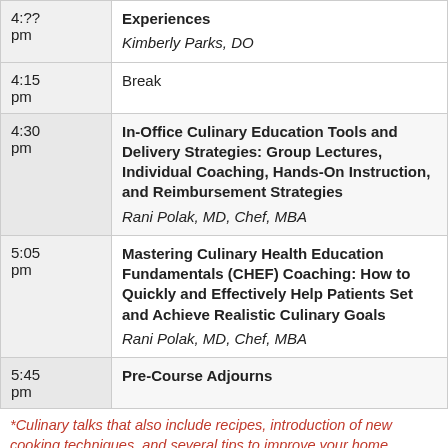| Time | Session |
| --- | --- |
| 4:?? pm | Experiences
Kimberly Parks, DO |
| 4:15 pm | Break |
| 4:30 pm | In-Office Culinary Education Tools and Delivery Strategies: Group Lectures, Individual Coaching, Hands-On Instruction, and Reimbursement Strategies
Rani Polak, MD, Chef, MBA |
| 5:05 pm | Mastering Culinary Health Education Fundamentals (CHEF) Coaching: How to Quickly and Effectively Help Patients Set and Achieve Realistic Culinary Goals
Rani Polak, MD, Chef, MBA |
| 5:45 pm | Pre-Course Adjourns |
*Culinary talks that also include recipes, introduction of new cooking techniques, and several tips to improve your home cooking